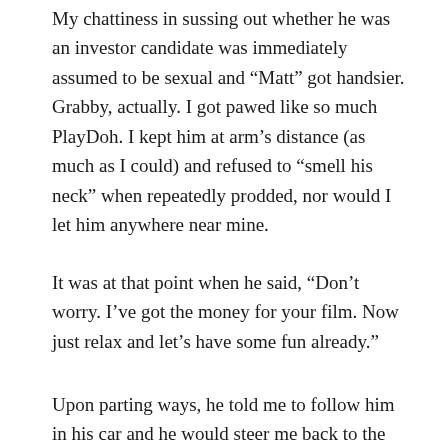My chattiness in sussing out whether he was an investor candidate was immediately assumed to be sexual and “Matt” got handsier. Grabby, actually. I got pawed like so much PlayDoh. I kept him at arm’s distance (as much as I could) and refused to “smell his neck” when repeatedly prodded, nor would I let him anywhere near mine.
It was at that point when he said, “Don’t worry. I’ve got the money for your film. Now just relax and let’s have some fun already.”
Upon parting ways, he told me to follow him in his car and he would steer me back to the